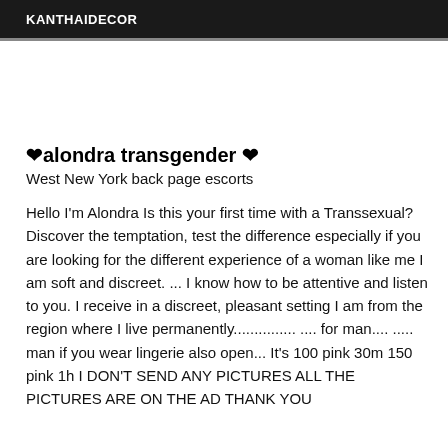KANTHAIDECOR
❤alondra transgender ❤
West New York back page escorts
Hello I'm Alondra Is this your first time with a Transsexual? Discover the temptation, test the difference especially if you are looking for the different experience of a woman like me I am soft and discreet. ... I know how to be attentive and listen to you. I receive in a discreet, pleasant setting I am from the region where I live permanently............... .... for man.... ..... man if you wear lingerie also open... It's 100 pink 30m 150 pink 1h I DON'T SEND ANY PICTURES ALL THE PICTURES ARE ON THE AD THANK YOU